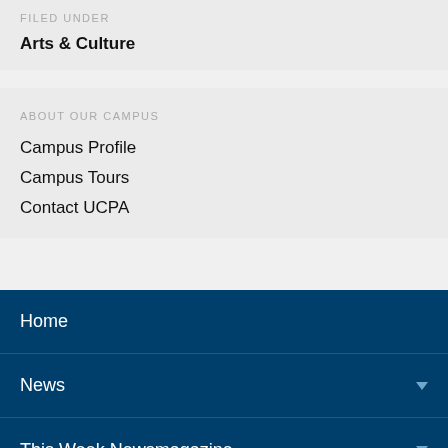FILED UNDER
Arts & Culture
ABOUT OUR CAMPUS
Campus Profile
Campus Tours
Contact UCPA
Home
News
This Week Newsmagazine